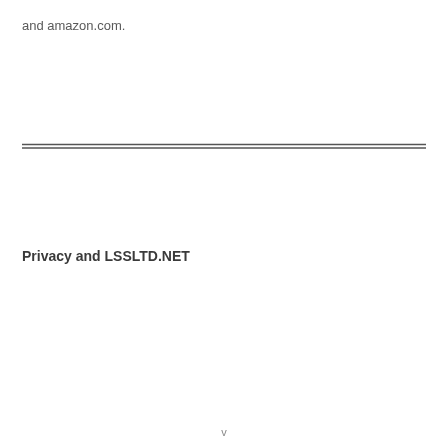and amazon.com.
Privacy and LSSLTD.NET
v